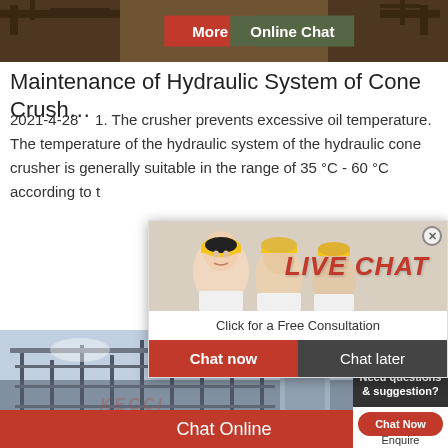[Figure (photo): Top banner image showing industrial/mining equipment background with 'More' and 'Online Chat' buttons]
Maintenance of Hydraulic System of Cone Crush…
2021-4-28    1. The crusher prevents excessive oil temperature. The temperature of the hydraulic system of the hydraulic cone crusher is generally suitable in the range of 35 °C - 60 °C according to t…
[Figure (screenshot): Live chat popup with workers in hard hats, LIVE CHAT title, 'Click for a Free Consultation' subtitle, Chat now and Chat later buttons]
[Figure (photo): Right sidebar showing customer service agent with headset, '24 hrs Online' banner, 'Need questions & suggestion?' text, and 'Chat Now' button]
[Figure (photo): Bottom image showing factory/industrial building structure with KECCI watermark]
Chat Online